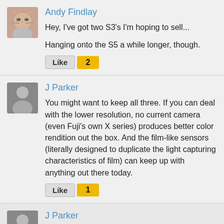Andy Findlay
Hey, I've got two S3's I'm hoping to sell...

Hanging onto the S5 a while longer, though.
Like 2
J Parker
You might want to keep all three. If you can deal with the lower resolution, no current camera (even Fuji's own X series) produces better color rendition out the box. And the film-like sensors (literally designed to duplicate the light capturing characteristics of film) can keep up with anything out there today.
Like 1
J Parker
In Sony's earlier days, they stated in a brochure that